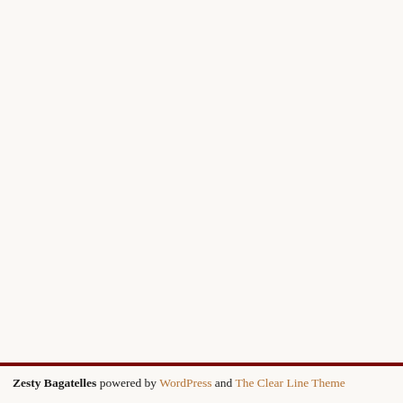Zesty Bagatelles powered by WordPress and The Clear Line Theme